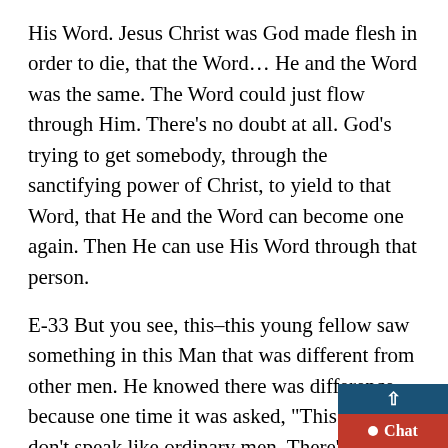His Word. Jesus Christ was God made flesh in order to die, that the Word… He and the Word was the same. The Word could just flow through Him. There's no doubt at all. God's trying to get somebody, through the sanctifying power of Christ, to yield to that Word, that He and the Word can become one again. Then He can use His Word through that person.
E-33 But you see, this–this young fellow saw something in this Man that was different from other men. He knowed there was difference, because one time it was asked, "This man don't speak like ordinary men. There's something about this fellow that's different. Never a man spake like this," because when He spoke, God was there to answ what He said.